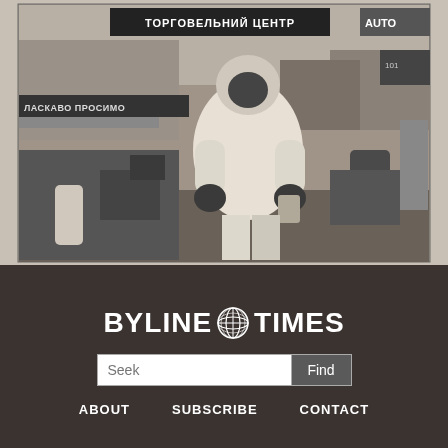[Figure (photo): Black and white photo of a person in a white hazmat suit and gas mask standing outdoors in what appears to be an industrial or market area with Cyrillic text on signs (ТОРГОВЕЛЬНИЙ ЦЕНТР, ЛАСКАВО ПРОСИМО). Various machinery and equipment are visible in the background.]
[Figure (logo): Byline Times logo — white bold text reading BYLINE TIMES with a globe icon between the two words, on a dark brown background]
Seek
Find
ABOUT
SUBSCRIBE
CONTACT